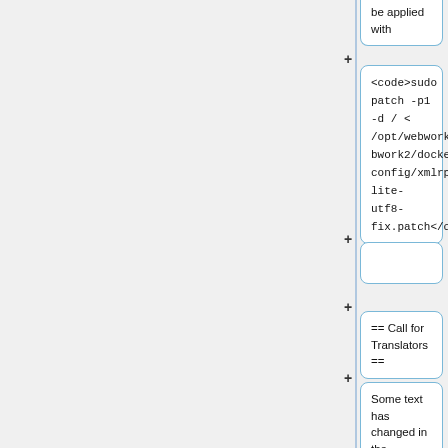be applied with
<code>sudo patch -p1 -d / < /opt/webwork/webwork2/docker-config/xmlrpc-lite-utf8-fix.patch</code>
== Call for Translators ==
Some text has changed in the WeBWorK interface, so there are new entries that need to be translated into other languages.